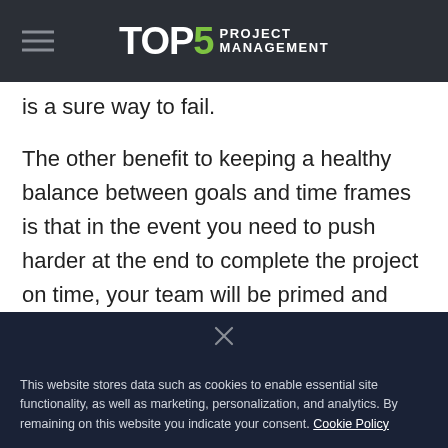TOP5 PROJECT MANAGEMENT
is a sure way to fail.
The other benefit to keeping a healthy balance between goals and time frames is that in the event you need to push harder at the end to complete the project on time, your team will be primed and ready to go. If you’re driving members hard throughout the project they will be less inclined, and less able to rally near the end. To keep your project on schedule, create
This website stores data such as cookies to enable essential site functionality, as well as marketing, personalization, and analytics. By remaining on this website you indicate your consent. Cookie Policy